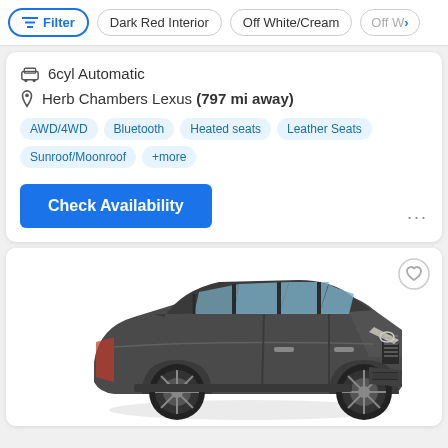Filter | Dark Red Interior | Off White/Cream | Off W...
6cyl Automatic
Herb Chambers Lexus (797 mi away)
AWD/4WD
Bluetooth
Heated seats
Leather Seats
Sunroof/Moonroof
+more
Check Availability
[Figure (photo): Gray Lexus LX SUV, front three-quarter view on white background]